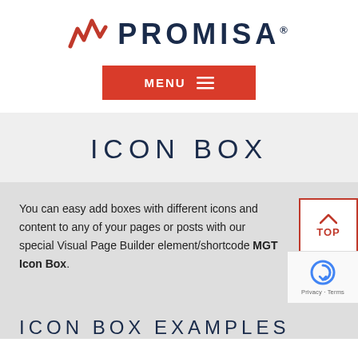[Figure (logo): Promisa logo with red zigzag wave icon and dark navy bold text PROMISA with registered trademark symbol]
[Figure (other): Red MENU button with hamburger icon (three horizontal lines)]
ICON BOX
You can easy add boxes with different icons and content to any of your pages or posts with our special Visual Page Builder element/shortcode MGT Icon Box.
[Figure (other): Partial bottom title text beginning with ICON BOX EXAMPLES (cut off)]